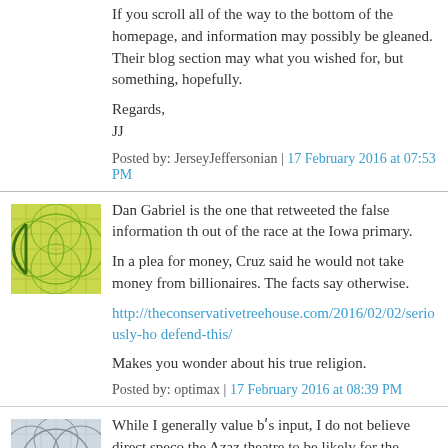If you scroll all of the way to the bottom of the homepage, and information may possibly be gleaned. Their blog section may what you wished for, but something, hopefully.
Regards,
JJ
Posted by: JerseyJeffersonian | 17 February 2016 at 07:53 PM
[Figure (illustration): Green/yellow geometric avatar icon with overlapping circles and lines]
Dan Gabriel is the one that retweeted the false information th out of the race at the Iowa primary.
In a plea for money, Cruz said he would not take money from billionaires. The facts say otherwise.
http://theconservativetreehouse.com/2016/02/02/seriously-ho defend-this/
Makes you wonder about his true religion.
Posted by: optimax | 17 February 2016 at 08:39 PM
[Figure (illustration): Gray/blue geometric avatar icon with overlapping circles and lines]
While I generally value bʹs input, I do not believe direct speco the Azaz theatre to be likely for the reasons already mentione